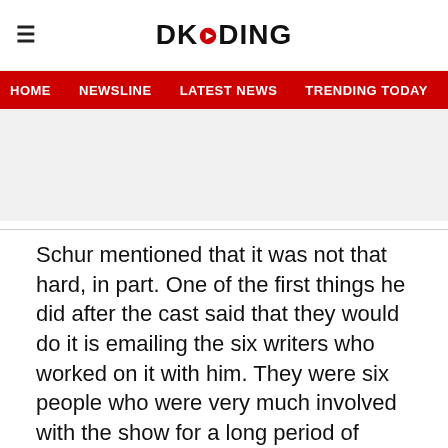DKODING
HOME  NEWSLINE  LATEST NEWS  TRENDING TODAY  ENT
[Figure (other): Advertisement placeholder banner]
Schur mentioned that it was not that hard, in part. One of the first things he did after the cast said that they would do it is emailing the six writers who worked on it with him. They were six people who were very much involved with the show for a long period of time. He knew very clearly that this was not something he could do himself. Much like how ‘Parks and Recreation’ always was, it needed to be a giant collaborative team effort. So once